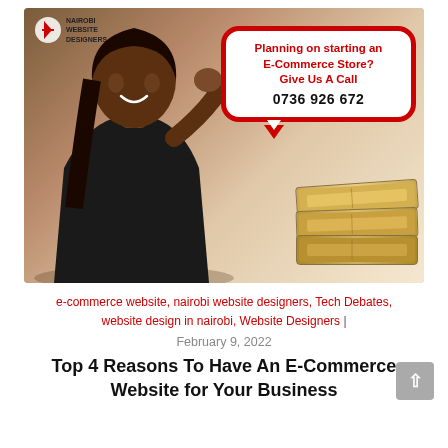[Figure (photo): Promotional image showing a smiling woman in a black blazer with stacks of money, and a speech bubble reading 'Planning on starting an E-Commerce Store? Give Us A Call 0736 926 672'. Nairobi Website Designers logo in top-left corner.]
e-commerce website, nairobi website designers, Tech Debates, website design in nairobi, Website Designers |
February 9, 2022
Top 4 Reasons To Have An E-Commerce Website for Your Business